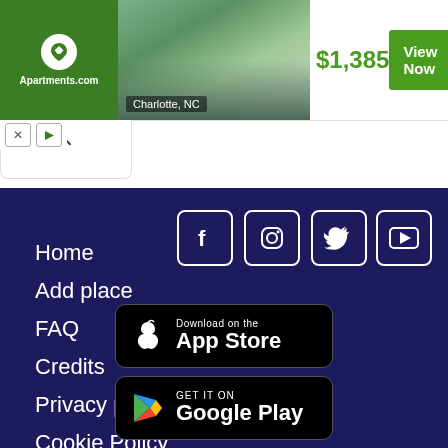[Figure (screenshot): Apartments.com advertisement banner showing apartment building in Charlotte, NC with price $1,385 and View Now button]
Home
Add place
FAQ
Credits
Privacy policy
Cookie Policy
Contacts
[Figure (logo): Facebook icon - white F on dark background in rounded square]
[Figure (logo): Instagram icon in rounded square]
[Figure (logo): Twitter bird icon in rounded square]
[Figure (logo): YouTube play button in rounded square]
[Figure (screenshot): Download on the App Store badge - black with Apple logo]
[Figure (screenshot): GET IT ON Google Play badge - black with Play Store logo]